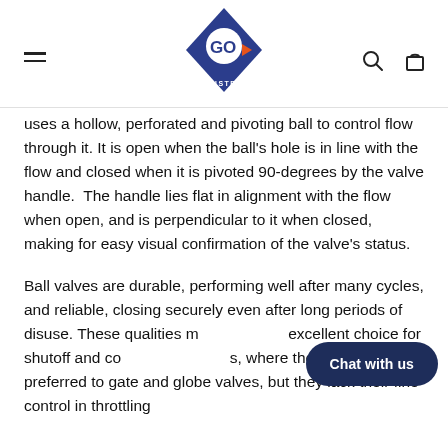GO Industrial
uses a hollow, perforated and pivoting ball to control flow through it. It is open when the ball's hole is in line with the flow and closed when it is pivoted 90-degrees by the valve handle.  The handle lies flat in alignment with the flow when open, and is perpendicular to it when closed, making for easy visual confirmation of the valve's status.
Ball valves are durable, performing well after many cycles, and reliable, closing securely even after long periods of disuse. These qualities m... excellent choice for shutoff and co... s, where they are often preferred to gate and globe valves, but they lack their fine control in throttling